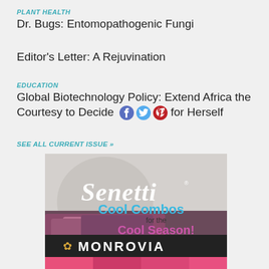PLANT HEALTH
Dr. Bugs: Entomopathogenic Fungi
Editor's Letter: A Rejuvination
EDUCATION
Global Biotechnology Policy: Extend Africa the Courtesy to Decide for Herself
SEE ALL CURRENT ISSUE »
[Figure (photo): Senetti Cool Combos for the Cool Season advertisement with purple and pink flowers, and Monrovia branding at the bottom]